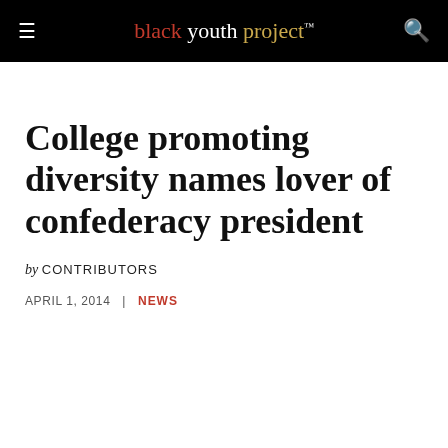black youth project™
College promoting diversity names lover of confederacy president
by CONTRIBUTORS
APRIL 1, 2014  |  NEWS